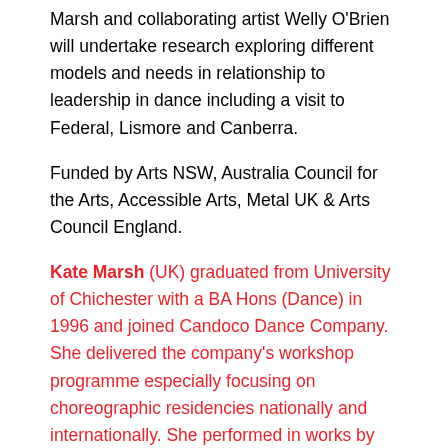Marsh and collaborating artist Welly O'Brien will undertake research exploring different models and needs in relationship to leadership in dance including a visit to Federal, Lismore and Canberra.
Funded by Arts NSW, Australia Council for the Arts, Accessible Arts, Metal UK & Arts Council England.
Kate Marsh (UK) graduated from University of Chichester with a BA Hons (Dance) in 1996 and joined Candoco Dance Company. She delivered the company's workshop programme especially focusing on choreographic residencies nationally and internationally. She performed in works by Doug Elkins, Javier de